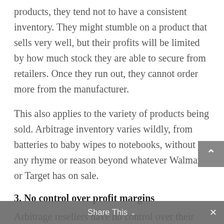products, they tend not to have a consistent inventory. They might stumble on a product that sells very well, but their profits will be limited by how much stock they are able to secure from retailers. Once they run out, they cannot order more from the manufacturer.
This also applies to the variety of products being sold. Arbitrage inventory varies wildly, from batteries to baby wipes to notebooks, without any rhyme or reason beyond whatever Walmart or Target has on sale.
3. No control over profit margins
Arbitrage resellers have no control over their margins. Their costs are defined by how much a retailer discounts an item, and their revenue is
Share This ∨  ×